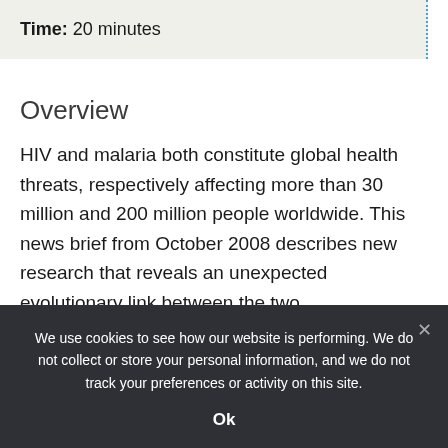Time: 20 minutes
Overview
HIV and malaria both constitute global health threats, respectively affecting more than 30 million and 200 million people worldwide. This news brief from October 2008 describes new research that reveals an unexpected evolutionary link between the two.
We use cookies to see how our website is performing. We do not collect or store your personal information, and we do not track your preferences or activity on this site.
Ok